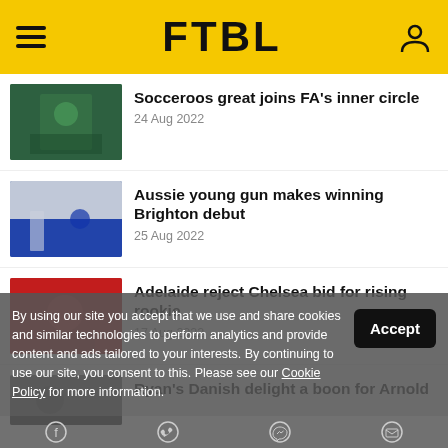FTBL
Socceroos great joins FA's inner circle — 24 Aug 2022
Aussie young gun makes winning Brighton debut — 25 Aug 2022
Adelaide reject Chelsea bid for rising rookie — 17 Aug 2022
Ryan's Danish delight a boon for Arnold
By using our site you accept that we use and share cookies and similar technologies to perform analytics and provide content and ads tailored to your interests. By continuing to use our site, you consent to this. Please see our Cookie Policy for more information.